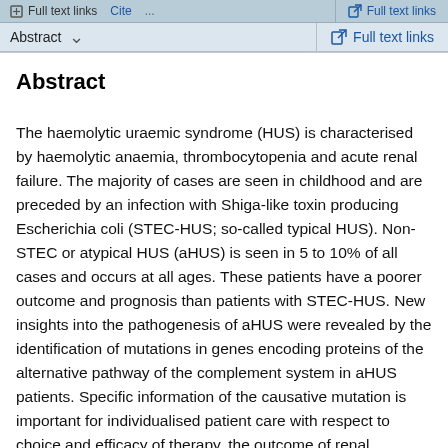Full text links | Cite | ... | Abstract | Full text links
Abstract
The haemolytic uraemic syndrome (HUS) is characterised by haemolytic anaemia, thrombocytopenia and acute renal failure. The majority of cases are seen in childhood and are preceded by an infection with Shiga-like toxin producing Escherichia coli (STEC-HUS; so-called typical HUS). Non-STEC or atypical HUS (aHUS) is seen in 5 to 10% of all cases and occurs at all ages. These patients have a poorer outcome and prognosis than patients with STEC-HUS. New insights into the pathogenesis of aHUS were revealed by the identification of mutations in genes encoding proteins of the alternative pathway of the complement system in aHUS patients. Specific information of the causative mutation is important for individualised patient care with respect to choice and efficacy of therapy, the outcome of renal